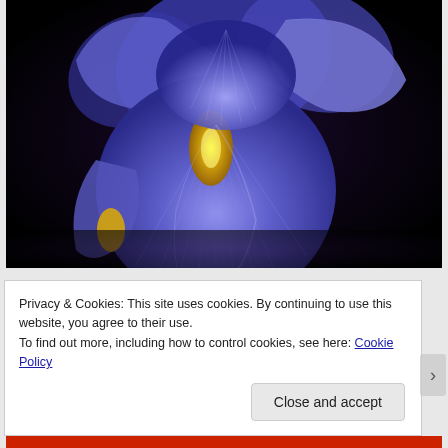[Figure (photo): Close-up photograph of a blue iris flower with yellow center markings against a black background. The large blue-purple petals with delicate veining are prominently displayed.]
Privacy & Cookies: This site uses cookies. By continuing to use this website, you agree to their use.
To find out more, including how to control cookies, see here: Cookie Policy
Close and accept